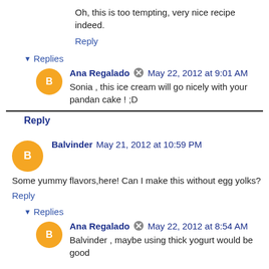Oh, this is too tempting, very nice recipe indeed.
Reply
Replies
Ana Regalado  May 22, 2012 at 9:01 AM
Sonia , this ice cream will go nicely with your pandan cake ! ;D
Reply
Balvinder  May 21, 2012 at 10:59 PM
Some yummy flavors,here! Can I make this without egg yolks?
Reply
Replies
Ana Regalado  May 22, 2012 at 8:54 AM
Balvinder , maybe using thick yogurt would be good